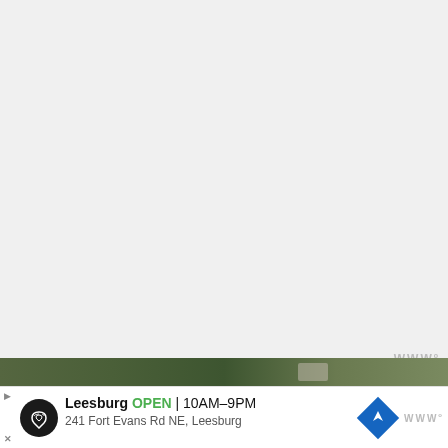[Figure (screenshot): Gray area representing a map or image placeholder at the top of the page]
If you want to get a taste of the place, the inn's dining room is open to the public. (But dress nice: There’s a dress code here.) Note: The main dining room does not get the rave reviews like another Inn restaurant, the Pink Elephant, which is located in another building.
[Figure (screenshot): Advertisement banner at the bottom: Leesburg store, OPEN 10AM–9PM, 241 Fort Evans Rd NE, Leesburg, with Waze navigation icon and logo]